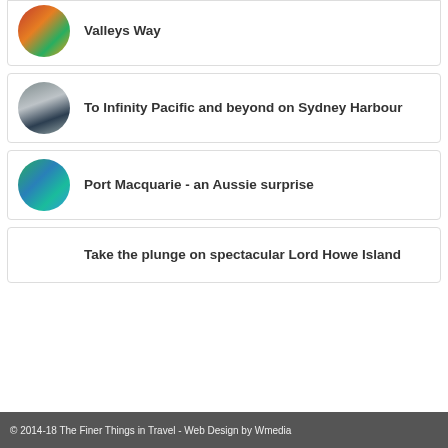Valleys Way
To Infinity Pacific and beyond on Sydney Harbour
Port Macquarie - an Aussie surprise
Take the plunge on spectacular Lord Howe Island
© 2014-18 The Finer Things in Travel - Web Design by Wmedia